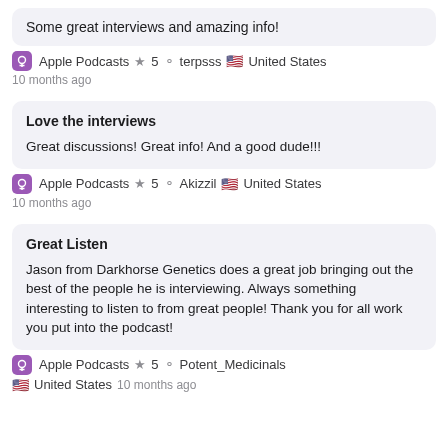Some great interviews and amazing info!
Apple Podcasts ★ 5 terpsss United States 10 months ago
Love the interviews
Great discussions! Great info! And a good dude!!!
Apple Podcasts ★ 5 Akizzil United States 10 months ago
Great Listen
Jason from Darkhorse Genetics does a great job bringing out the best of the people he is interviewing. Always something interesting to listen to from great people! Thank you for all work you put into the podcast!
Apple Podcasts ★ 5 Potent_Medicinals United States 10 months ago